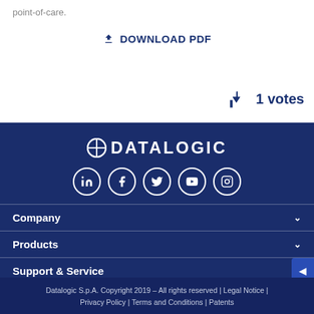point-of-care.
⬇ DOWNLOAD PDF
1 votes
[Figure (logo): Datalogic company logo with cross/compass rose icon followed by DATALOGIC text in white on dark blue background]
[Figure (other): Social media icons in circles: LinkedIn, Facebook, Twitter, YouTube, Instagram]
Company
Products
Support & Service
Datalogic S.p.A. Copyright 2019 – All rights reserved | Legal Notice | Privacy Policy | Terms and Conditions | Patents